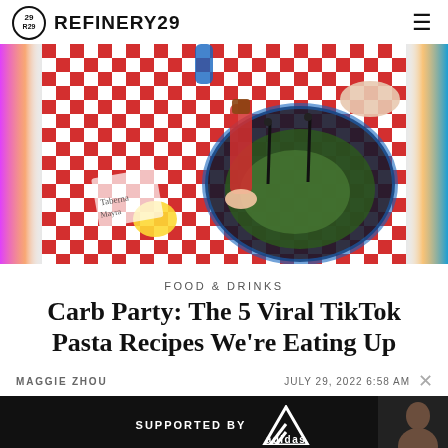REFINERY29
[Figure (photo): Overhead photo of a colorful plate of food with dark sauce on a red-and-white checkered tablecloth. A hand holds a small bottle of red liquid over the plate. The scene has vibrant pink and blue accents on the sides.]
FOOD & DRINKS
Carb Party: The 5 Viral TikTok Pasta Recipes We're Eating Up
MAGGIE ZHOU
JULY 29, 2022 6:58 AM
[Figure (infographic): Advertisement banner: SUPPORTED BY adidas, with adidas logo and a person visible on the right side.]